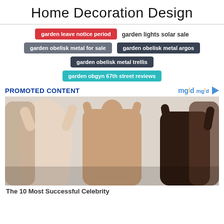Home Decoration Design
garden leave notice period
garden lights solar sale
garden obelisk metal for sale
garden obelisk metal argos
garden obelisk metal trellis
garden obgyn 67th street reviews
PROMOTED CONTENT
[Figure (photo): Promotional photo showing multiple women in shapewear/bodysuits, with a central figure in a nude-tone bodysuit surrounded by others in various skin tones of bodysuits]
The 10 Most Successful Celebrity